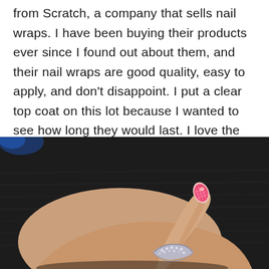from Scratch, a company that sells nail wraps. I have been buying their products ever since I found out about them, and their nail wraps are good quality, easy to apply, and don't disappoint. I put a clear top coat on this lot because I wanted to see how long they would last. I love the design because I have always had a fascination with rocks and these wraps really illustrate my love for them. I like how each of them has a small clear window with a bit of glitter.
[Figure (photo): Close-up photograph of a hand wearing a decorative silver ring and pink patterned nail wraps, against a dark black fabric background.]